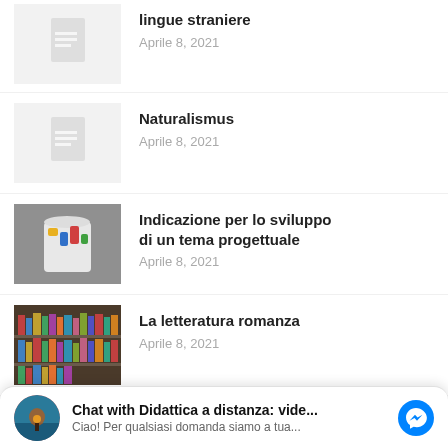lingue straniere — Aprile 8, 2021
Naturalismus — Aprile 8, 2021
Indicazione per lo sviluppo di un tema progettuale — Aprile 8, 2021
La letteratura romanza — Aprile 8, 2021
Chat with Didattica a distanza: vide... Ciao! Per qualsiasi domanda siamo a tua...